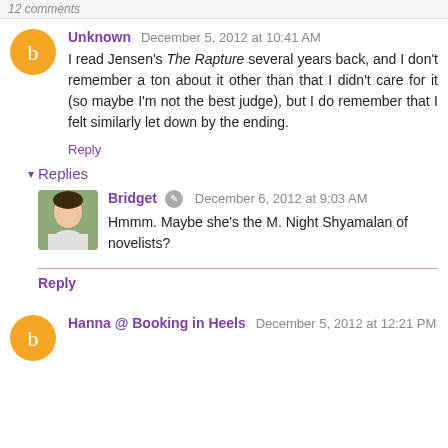12 comments
Unknown  December 5, 2012 at 10:41 AM
I read Jensen's The Rapture several years back, and I don't remember a ton about it other than that I didn't care for it (so maybe I'm not the best judge), but I do remember that I felt similarly let down by the ending.
Reply
Replies
Bridget  December 6, 2012 at 9:03 AM
Hmmm. Maybe she's the M. Night Shyamalan of novelists?
Reply
Hanna @ Booking in Heels  December 5, 2012 at 12:21 PM